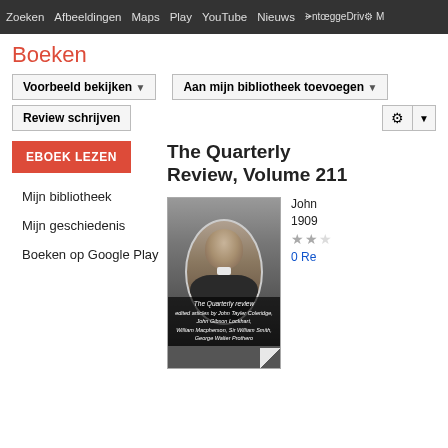Zoeken Afbeeldingen Maps Play YouTube Nieuws Inloggen Drive M
Boeken
Voorbeeld bekijken
Aan mijn bibliotheek toevoegen
Review schrijven
EBOEK LEZEN
The Quarterly Review, Volume 211
Mijn bibliotheek
Mijn geschiedenis
Boeken op Google Play
[Figure (photo): Book cover of The Quarterly Review showing a portrait photograph of a Victorian-era gentleman in an oval frame, with text 'The Quarterly review' at the bottom]
John 1909 0 Re